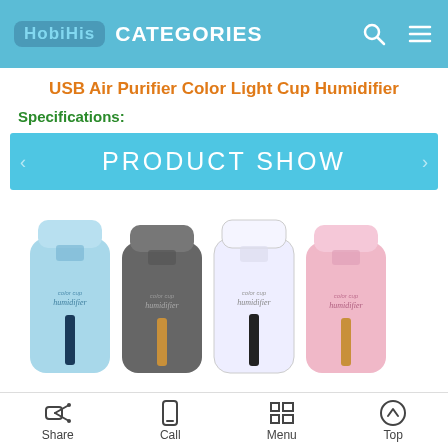CATEGORIES
USB Air Purifier Color Light Cup Humidifier
Specifications:
[Figure (infographic): Blue banner with text PRODUCT SHOW and left/right arrow decorations]
[Figure (photo): Four color variants of a cup humidifier: blue, dark gray, white, and pink]
Share | Call | Menu | Top